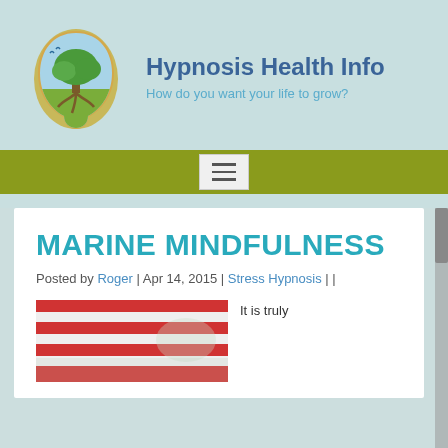[Figure (logo): Logo of Hypnosis Health Info: a stylized human head profile filled with a tree growing from roots, with blue sky and green landscape.]
Hypnosis Health Info
How do you want your life to grow?
[Figure (other): Olive-green navigation bar with a hamburger menu button (three horizontal lines) centered on it.]
MARINE MINDFULNESS
Posted by Roger | Apr 14, 2015 | Stress Hypnosis | |
[Figure (photo): Partial photo of a red and white striped object, appearing to be a beach/marine scene.]
It is truly